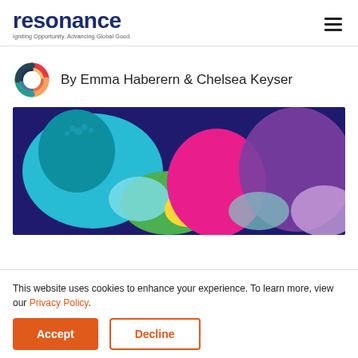resonance — Igniting Opportunity. Advancing Global Good.
By Emma Haberern & Chelsea Keyser
[Figure (illustration): Colorful silhouettes of people's heads on a dark blue background, with shapes in cyan, green, pink, yellow, purple, and lavender.]
This website uses cookies to enhance your experience. To learn more, view our Privacy Policy.
Accept
Decline